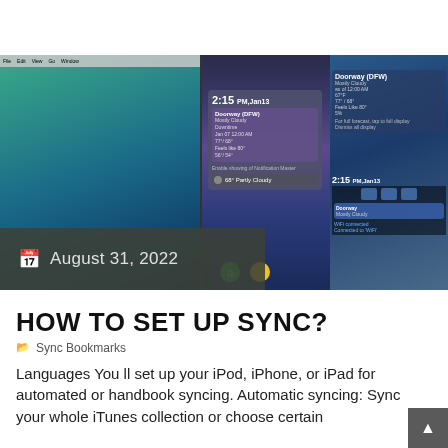[Figure (photo): Photo showing tablets and smartphones with sync/weather notifications on screen, Mac desktop visible, with date overlay showing August 31, 2022]
HOW TO SET UP SYNC?
Sync Bookmarks
Languages You ll set up your iPod, iPhone, or iPad for automated or handbook syncing. Automatic syncing: Sync your whole iTunes collection or choose certain